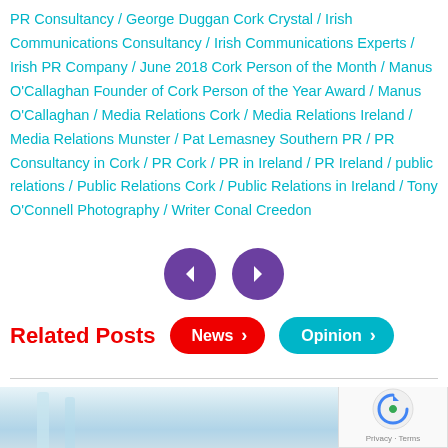PR Consultancy / George Duggan Cork Crystal / Irish Communications Consultancy / Irish Communications Experts / Irish PR Company / June 2018 Cork Person of the Month / Manus O'Callaghan Founder of Cork Person of the Year Award / Manus O'Callaghan / Media Relations Cork / Media Relations Ireland / Media Relations Munster / Pat Lemasney Southern PR / PR Consultancy in Cork / PR Cork / PR in Ireland / PR Ireland / public relations / Public Relations Cork / Public Relations in Ireland / Tony O'Connell Photography / Writer Conal Creedon
[Figure (other): Navigation arrows: left chevron and right chevron in purple diamond shapes]
Related Posts
[Figure (other): News button pill in red and Opinion button pill in teal]
[Figure (photo): Blurred outdoor photo with glass panels in foreground and greenery in background]
[Figure (other): reCAPTCHA badge with logo and Privacy · Terms text]